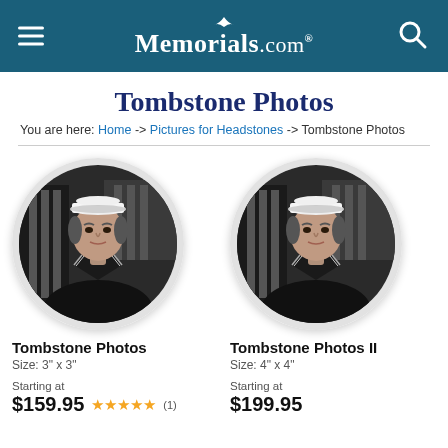Memorials.com
Tombstone Photos
You are here: Home -> Pictures for Headstones -> Tombstone Photos
[Figure (photo): Circular framed black and white portrait of a young man in a Navy sailor uniform with white cap, in front of a flag background - product image for Tombstone Photos]
Tombstone Photos
Size: 3" x 3"
Starting at
$159.95 ★★★★★ (1)
[Figure (photo): Circular framed black and white portrait of a young man in a Navy sailor uniform with white cap, in front of a flag background - product image for Tombstone Photos II]
Tombstone Photos II
Size: 4" x 4"
Starting at
$199.95